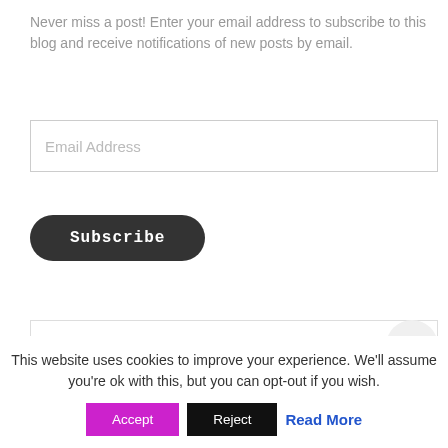Never miss a post! Enter your email address to subscribe to this blog and receive notifications of new posts by email.
Email Address
Subscribe
Search ...
START HERE · SHOEMAKING · LEATHER CRAFTS ·
This website uses cookies to improve your experience. We'll assume you're ok with this, but you can opt-out if you wish.
Accept
Reject
Read More